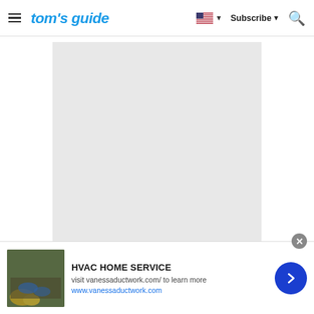tom's guide — Subscribe — Search
[Figure (photo): Large light gray placeholder image area]
[Figure (photo): Ad banner: person gardening with yellow flowers, HVAC HOME SERVICE advertisement for vanessaductwork.com]